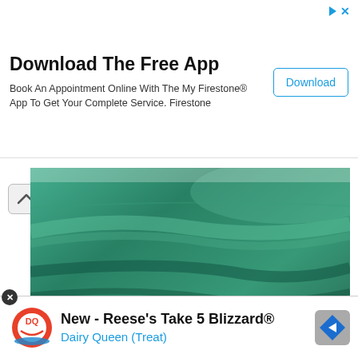[Figure (infographic): Top advertisement banner: Download The Free App - Book An Appointment Online With The My Firestone App To Get Your Complete Service. Firestone. With a Download button on the right.]
[Figure (photo): Close-up photograph of teal/green fabric showing texture and folds, with a small chevron-up button on the left side.]
Firstly, check out your lace and see which way it stretches.  There is a line on the pattern piece which represents the direction of the greatest stretch.  If the fabric stretches equally on both directions, then it doesn't really matter, but if it stretches one way more than the other, make sure you lie out the pattern piece so that the line on the pattern follows the
[Figure (infographic): Bottom advertisement for Dairy Queen: New - Reese's Take 5 Blizzard® Dairy Queen (Treat) with DQ logo and navigation icon.]